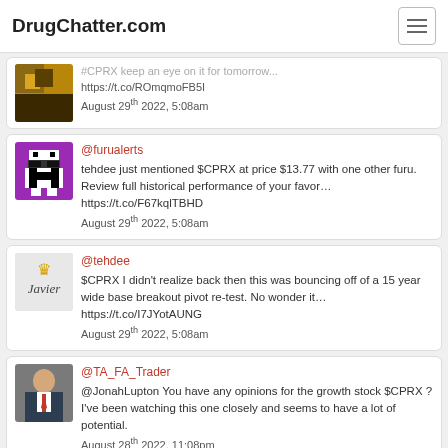DrugChatter.com
#CPRX keep an eye on it for tomorrow... https://t.co/ROmqmoFB5I August 29th 2022, 5:08am
tehdee just mentioned $CPRX at price $13.77 with one other furu. Review full historical performance of your favor... https://t.co/F67kqlTBHD August 29th 2022, 5:08am
$CPRX I didn't realize back then this was bouncing off of a 15 year wide base breakout pivot re-test. No wonder it... https://t.co/I7JYotAUNG August 29th 2022, 5:08am
@JonahLupton You have any opinions for the growth stock $CPRX ? I've been watching this one closely and seems to have a lot of potential. August 28th 2022, 11:08pm